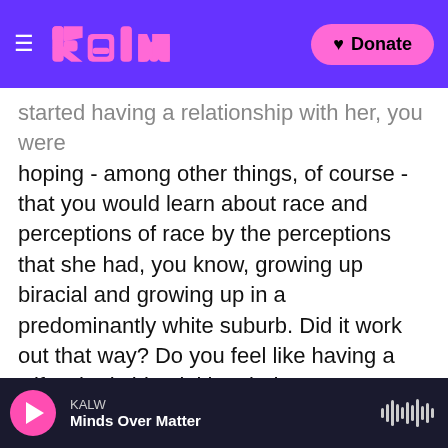[Figure (screenshot): KQED/Kalw website header with purple background, pink logo text 'kalw' in stylized block letters, hamburger menu icon on left, and pink 'Donate' button with heart on right]
started having a relationship with her, you were hoping - among other things, of course - that you would learn about race and perceptions of race by the perceptions that she had, you know, growing up biracial and growing up in a predominantly white suburb. Did it work out that way? Do you feel like having a wife who is biracial has led you to understand things about race that you wouldn't have otherwise perceived?
WALKER: Absolutely - but in a way, completely opposite than what I anticipated. I anticipated that, being biracial, that my wife would be extra sensitive to racial matters, that she would be on
KALW
Minds Over Matter